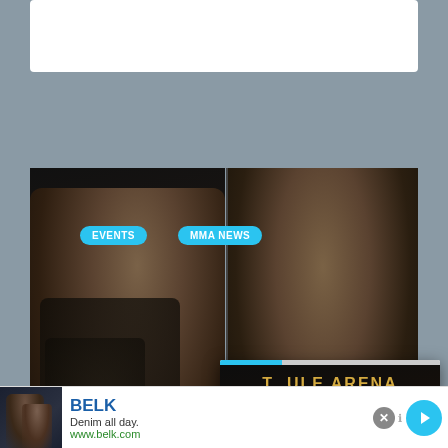[Figure (photo): Top white box with partial text visible at top of page, cut off]
[Figure (photo): Two MMA fighters side by side: left fighter with tattoos facing right, right fighter face close-up looking up with sweat]
EVENTS
MMA NEWS
GREG HARDY VS ... WORKS FOR OC...
[Figure (photo): Overlay card showing MMA fighter in boxing stance at T-Mobile Arena, with progress bar and Kevin Holland caption]
Kevin Holland announces he's...
[Figure (advertisement): BELK advertisement banner: Denim all day. www.belk.com with person image and navigation arrow]